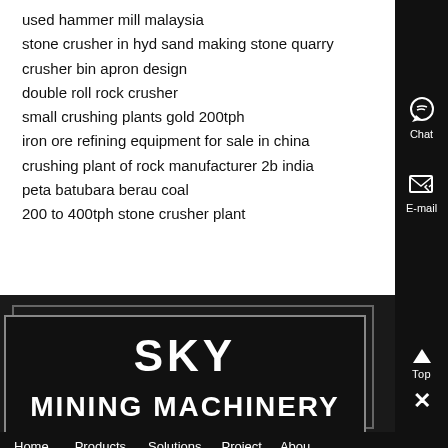used hammer mill malaysia
stone crusher in hyd sand making stone quarry
crusher bin apron design
double roll rock crusher
small crushing plants gold 200tph
iron ore refining equipment for sale in china
crushing plant of rock manufacturer 2b india
peta batubara berau coal
200 to 400tph stone crusher plant
[Figure (logo): SKY MINING MACHINERY logo in white bold text on black background with double border]
Home   Products   Solutions   Project   Abou